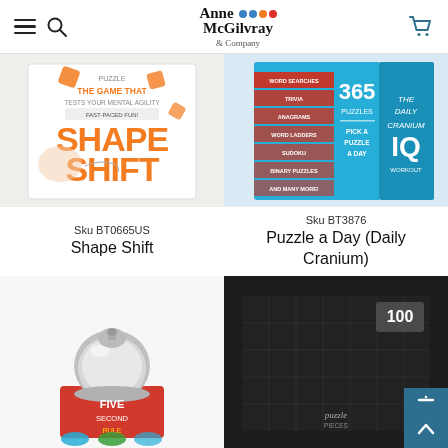Anne McGilvray & Company
[Figure (photo): Shape Shift board game box - The game that tests mental agility, fast-paced fun]
[Figure (photo): 365 Puzzles Pick a Puzzle a Day - The Daily Cranium IQ Workout]
Sku BT0665US
Shape Shift
Sku BT3876
Puzzle a Day (Daily Cranium)
[Figure (photo): Five Second Rule game with bell]
[Figure (photo): 100 Piece Puzzle dark box]